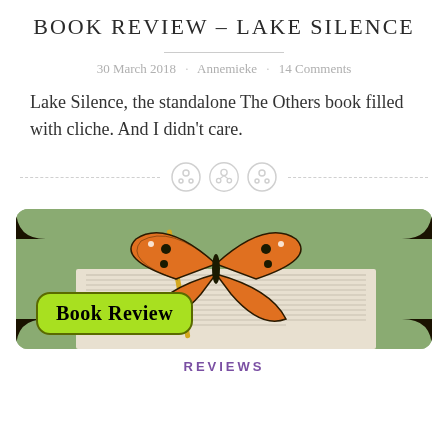Book Review – Lake Silence
30 March 2018 · Annemieke · 14 Comments
Lake Silence, the standalone The Others book filled with cliche. And I didn't care.
[Figure (photo): Photo of an open book with a butterfly-shaped gold bookmark on top, with a green background. A green 'Book Review' badge overlays the bottom-left corner of the image.]
REVIEWS